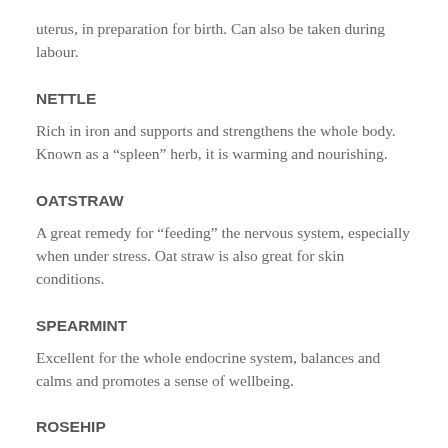uterus, in preparation for birth. Can also be taken during labour.
NETTLE
Rich in iron and supports and strengthens the whole body. Known as a “spleen” herb, it is warming and nourishing.
OATSTRAW
A great remedy for “feeding” the nervous system, especially when under stress. Oat straw is also great for skin conditions.
SPEARMINT
Excellent for the whole endocrine system, balances and calms and promotes a sense of wellbeing.
ROSEHIP